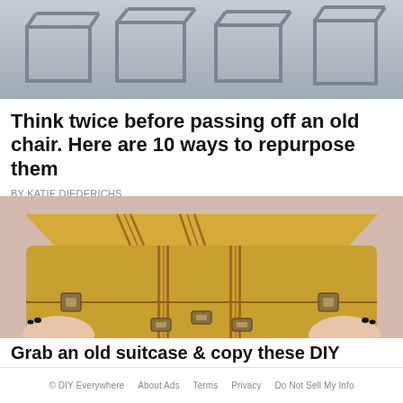[Figure (photo): Photo of metal chair frames/structures arranged on a light gray surface, viewed from above at an angle. The frames are bare metal without upholstery.]
Think twice before passing off an old chair. Here are 10 ways to repurpose them
BY KATIE DIEDERICHS
[Figure (photo): Photo of a vintage yellow/tan suitcase with brown stripe details and metal latches, being held up by two hands with dark painted fingernails against a pink/mauve background.]
Grab an old suitcase & copy these DIY
© DIY Everywhere   About Ads   Terms   Privacy   Do Not Sell My Info